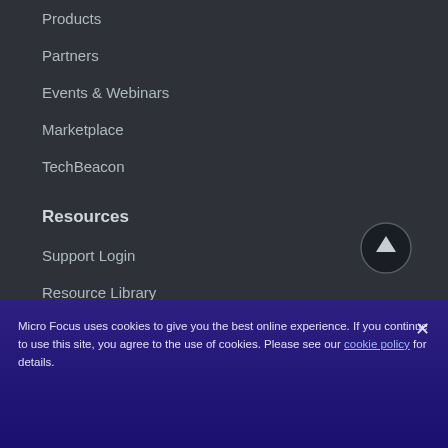Products
Partners
Events & Webinars
Marketplace
TechBeacon
Resources
Support Login
Resource Library
Free Trials
Community
Company
[Figure (other): Scroll to top button — dark circle with upward arrow icon]
Micro Focus uses cookies to give you the best online experience. If you continue to use this site, you agree to the use of cookies. Please see our cookie policy for details.